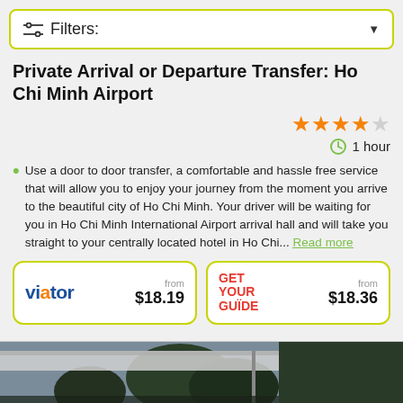Filters:
Private Arrival or Departure Transfer: Ho Chi Minh Airport
4 out of 5 stars
1 hour
Use a door to door transfer, a comfortable and hassle free service that will allow you to enjoy your journey from the moment you arrive to the beautiful city of Ho Chi Minh. Your driver will be waiting for you in Ho Chi Minh International Airport arrival hall and will take you straight to your centrally located hotel in Ho Chi... Read more
viator from $18.19
GET YOUR GUIDE from $18.36
[Figure (photo): Partial view of what appears to be a covered area or vehicle with trees and sky in the background]